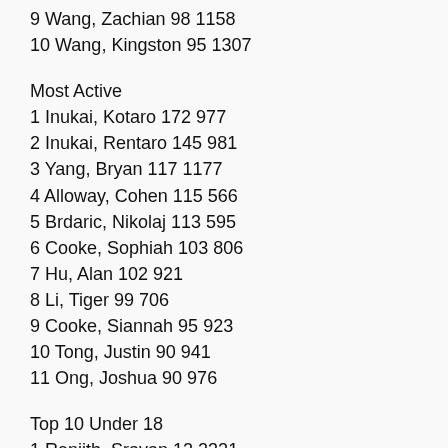9 Wang, Zachian 98 1158
10 Wang, Kingston 95 1307
Most Active
1 Inukai, Kotaro 172 977
2 Inukai, Rentaro 145 981
3 Yang, Bryan 117 1177
4 Alloway, Cohen 115 566
5 Brdaric, Nikolaj 113 595
6 Cooke, Sophiah 103 806
7 Hu, Alan 102 921
8 Li, Tiger 99 706
9 Cooke, Siannah 95 923
10 Tong, Justin 90 941
11 Ong, Joshua 90 976
Top 10 Under 18
1 Renjith, Sravan 12 2321
2 Ostapenko, Michael 16 2100
3 Wang, Jason 17 1898